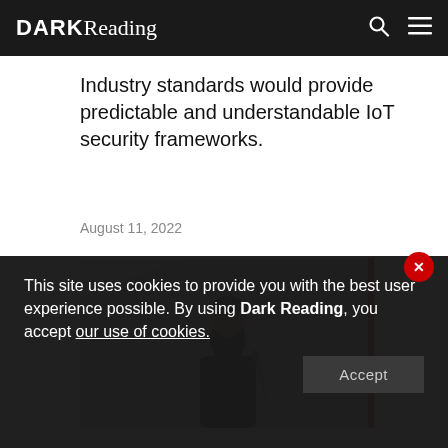DARK Reading
Industry standards would provide predictable and understandable IoT security frameworks.
August 11, 2022
[Figure (photo): A man in a black shirt standing at a podium or lectern in front of a light-colored paneled wall, with a microphone visible to his right.]
This site uses cookies to provide you with the best user experience possible. By using Dark Reading, you accept our use of cookies.